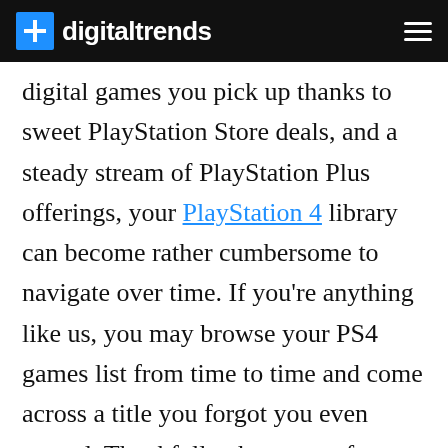digitaltrends
digital games you pick up thanks to sweet PlayStation Store deals, and a steady stream of PlayStation Plus offerings, your PlayStation 4 library can become rather cumbersome to navigate over time. If you're anything like us, you may browse your PS4 games list from time to time and come across a title you forgot you even owned. Thankfully, there are a few things you can do to ensure your PS4 game library remains relatively painless to navigate with the use of folders and other tricks